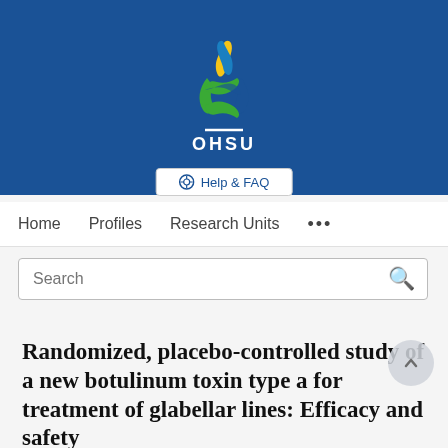[Figure (logo): OHSU (Oregon Health & Science University) logo on blue background — DNA helix with yellow/blue/green flame above, white underline, OHSU text in white below]
[Figure (screenshot): Help & FAQ button]
[Figure (screenshot): Navigation bar with Home, Profiles, Research Units, and more options]
[Figure (screenshot): Search bar with magnifying glass icon]
Randomized, placebo-controlled study of a new botulinum toxin type a for treatment of glabellar lines: Efficacy and safety